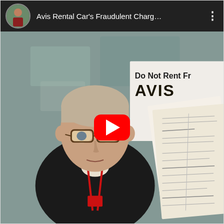[Figure (screenshot): A YouTube video thumbnail/card showing a man wearing glasses and a black jacket with a red lanyard, holding up papers (Avis rental car documents). Behind him is a sign partially visible reading 'Do Not Rent Fr' and 'AVIS'. A red YouTube play button is overlaid at center. The video title in the header bar reads 'Avis Rental Car's Fraudulent Charg…' with a user avatar thumbnail and a three-dot menu icon.]